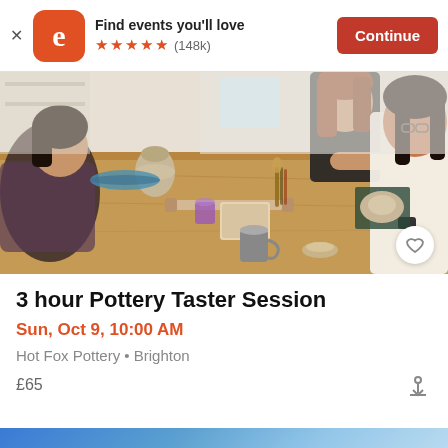Find events you'll love ★★★★★ (148k) Continue
[Figure (photo): People doing pottery at a wooden table in a studio workshop, with clay pots, tools, and rolling pins visible.]
3 hour Pottery Taster Session
Sun, Oct 9, 10:00 AM
Hot Fox Pottery • Brighton
£65